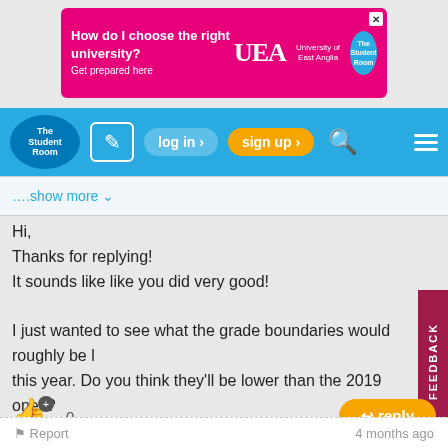[Figure (screenshot): UEA advertisement banner: 'How do I choose the right university? Get prepared here' with UEA logo and The Student Room badge]
The Student Room — log in › sign up ›
….show more ∨
Hi,
Thanks for replying!
It sounds like like you did very good!

I just wanted to see what the grade boundaries would roughly be like this year. Do you think they'll be lower than the 2019 ones?
0  reply
Muttley79  #5
Badges: 20  Rep:
Report  4 months ago